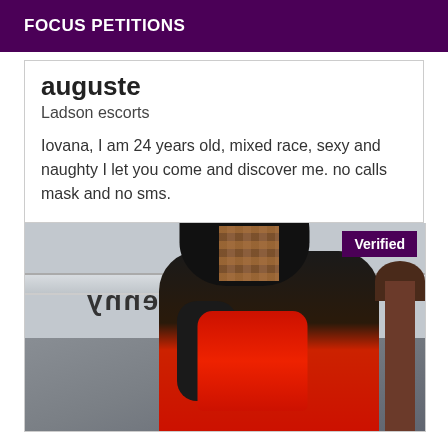FOCUS PETITIONS
auguste
Ladson escorts
Iovana, I am 24 years old, mixed race, sexy and naughty I let you come and discover me. no calls mask and no sms.
[Figure (photo): Photo of a woman with long dark hair wearing a red corset, face pixelated for anonymity. Mirrored text reading 'jenny' visible in background. A 'Verified' badge appears in the top right corner.]